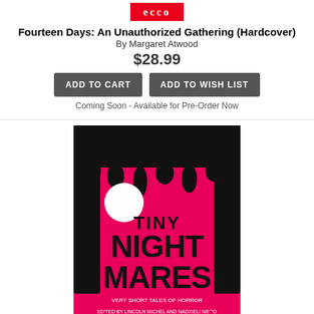[Figure (logo): Ecco publisher logo in red rectangle with white text]
Fourteen Days: An Unauthorized Gathering (Hardcover)
By Margaret Atwood
$28.99
ADD TO CART
ADD TO WISH LIST
Coming Soon - Available for Pre-Order Now
[Figure (photo): Book cover of Tiny Nightmares: Very Short Stories of Horror, pink/magenta background with black dripping paint silhouettes and bold title text]
Tiny Nightmares: Very Short Stories of Horror (Paperback)
By Lincoln Michel, Nadxieli Nieto (Editor)
$16.95
ADD TO CART
ADD TO WISH LIST